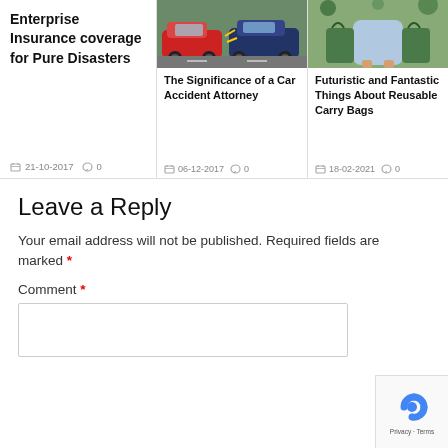Enterprise Insurance coverage for Pure Disasters
📅 21-10-2017  💬 0
[Figure (photo): Photo of two red and blue cars crashed together in a parking lot]
The Significance of a Car Accident Attorney
📅 06-12-2017  💬 0
[Figure (photo): Photo of a woman in a light blue dress holding large green reusable shopping bags]
Futuristic and Fantastic Things About Reusable Carry Bags
📅 18-02-2021  💬 0
Leave a Reply
Your email address will not be published. Required fields are marked *
Comment *